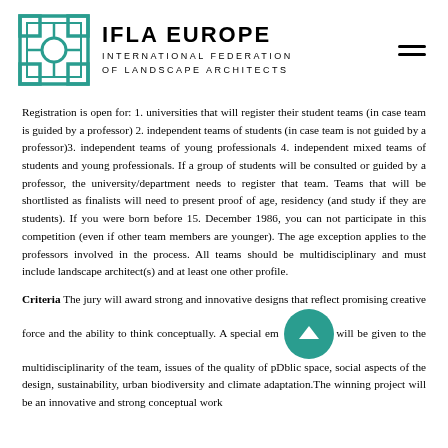IFLA EUROPE INTERNATIONAL FEDERATION OF LANDSCAPE ARCHITECTS
Registration is open for: 1. universities that will register their student teams (in case team is guided by a professor) 2. independent teams of students (in case team is not guided by a professor)3. independent teams of young professionals 4. independent mixed teams of students and young professionals. If a group of students will be consulted or guided by a professor, the university/department needs to register that team. Teams that will be shortlisted as finalists will need to present proof of age, residency (and study if they are students). If you were born before 15. December 1986, you can not participate in this competition (even if other team members are younger). The age exception applies to the professors involved in the process. All teams should be multidisciplinary and must include landscape architect(s) and at least one other profile.
Criteria The jury will award strong and innovative designs that reflect promising creative force and the ability to think conceptually. A special emphasis will be given to the multidisciplinarity of the team, issues of the quality of public space, social aspects of the design, sustainability, urban biodiversity and climate adaptation.The winning project will be an innovative and strong conceptual work